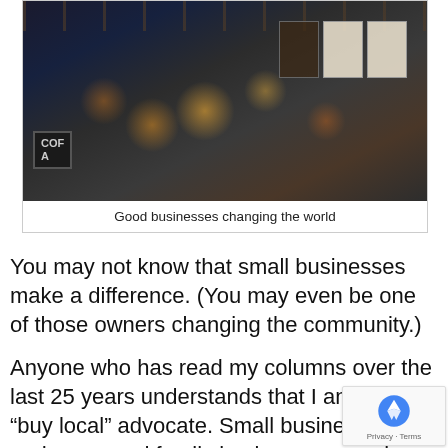[Figure (photo): Interior of a coffee shop/cafe with hanging Edison bulbs, ceiling pipes, a display counter, menu boards on the right wall, and a customer browsing. Dark, moody atmosphere with warm lighting.]
Good businesses changing the world
You may not know that small businesses make a difference. (You may even be one of those owners changing the community.)
Anyone who has read my columns over the last 25 years understands that I am a BIG “buy local” advocate. Small businesses, and pops, and family businesses are vi important to our communities.